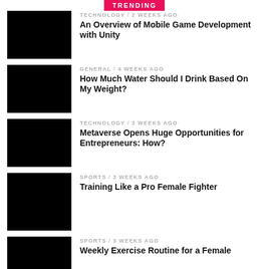TRENDING
TECHNOLOGY / 2 weeks ago
An Overview of Mobile Game Development with Unity
GENERAL / 4 weeks ago
How Much Water Should I Drink Based On My Weight?
TECHNOLOGY / 3 weeks ago
Metaverse Opens Huge Opportunities for Entrepreneurs: How?
SPORTS / 3 weeks ago
Training Like a Pro Female Fighter
SPORTS / 3 weeks ago
Weekly Exercise Routine for a Female...